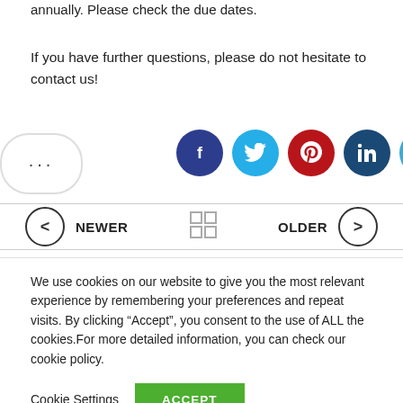annually. Please check the due dates.
If you have further questions, please do not hesitate to contact us!
[Figure (other): Row of social media share buttons: Facebook (dark blue), Twitter (cyan), Pinterest (red), LinkedIn (dark blue), Telegram (light blue)]
NEWER  [grid icon]  OLDER
We use cookies on our website to give you the most relevant experience by remembering your preferences and repeat visits. By clicking “Accept”, you consent to the use of ALL the cookies.For more detailed information, you can check our cookie policy.
Cookie Settings  ACCEPT